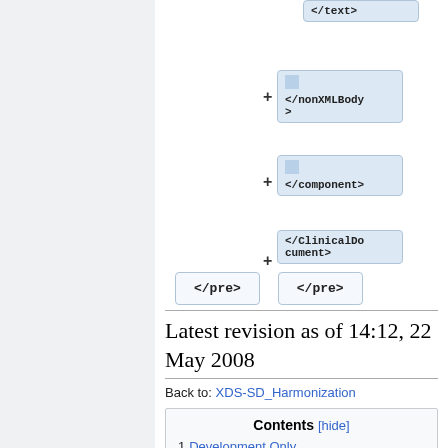[Figure (screenshot): XML tree diagram showing closing tags: </text>, </nonXMLBody>, </component>, </ClinicalDocument>, with </pre> boxes at bottom]
Latest revision as of 14:12, 22 May 2008
Back to: XDS-SD_Harmonization
| Contents [hide] |
| --- |
| 1 Development Only |
| 1.1 Scanned Document Specification |